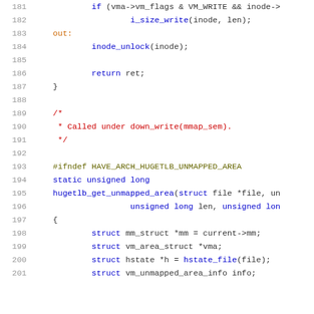[Figure (screenshot): Source code listing showing C code lines 181-201 with syntax highlighting. Lines include if condition with vma->vm_flags, i_size_write, inode_unlock, return ret, a comment block about down_write(mmap_sem), #ifndef HAVE_ARCH_HUGETLB_UNMAPPED_AREA, static unsigned long hugetlb_get_unmapped_area function definition, and struct declarations.]